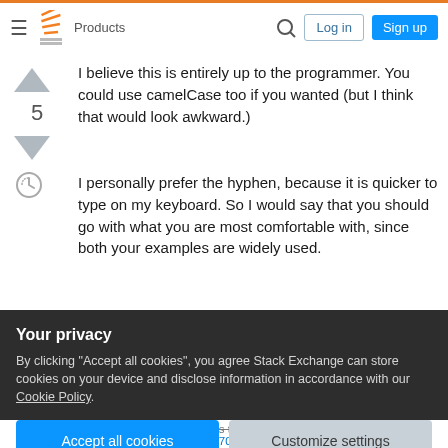Stack Overflow - Products | Log in | Sign up
I believe this is entirely up to the programmer. You could use camelCase too if you wanted (but I think that would look awkward.)
I personally prefer the hyphen, because it is quicker to type on my keyboard. So I would say that you should go with what you are most comfortable with, since both your examples are widely used.
Share  Follow  edited Nov 22, 2013 at 23:53
Dave Brissetti
Your privacy
By clicking "Accept all cookies", you agree Stack Exchange can store cookies on your device and disclose information in accordance with our Cookie Policy.
Accept all cookies
Customize settings
this question is similar and verifies this answer
stackoverflow.com/questions/70570/  Matt Smith